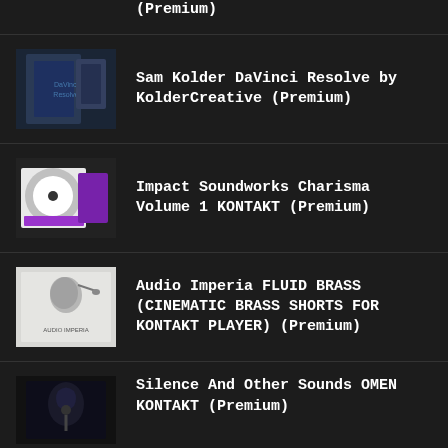(Premium)
Sam Kolder DaVinci Resolve by KolderCreative (Premium)
Impact Soundworks Charisma Volume 1 KONTAKT (Premium)
Audio Imperia FLUID BRASS (CINEMATIC BRASS SHORTS FOR KONTAKT PLAYER) (Premium)
Silence And Other Sounds OMEN KONTAKT (Premium)